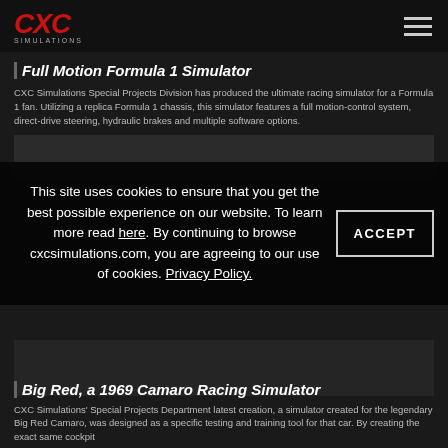CXC Simulations header with logo and navigation menu
Full Motion Formula 1 Simulator
CXC Simulations Special Projects Division has produced the ultimate racing simulator for a Formula 1 fan. Utilizing a replica Formula 1 chassis, this simulator features a full motion-control system, direct-drive steering, hydraulic brakes and multiple software options.
[Figure (photo): Dark image area showing Formula 1 simulator]
This site uses cookies to ensure that you get the best possible experience on our website. To learn more read here. By continuing to browse cxcsimulations.com, you are agreeing to our use of cookies. Privacy Policy.
[Figure (photo): Dark image area showing simulator (lower portion)]
Big Red, a 1969 Camaro Racing Simulator
CXC Simulations' Special Projects Department latest creation, a simulator created for the legendary Big Red Camaro, was designed as a specific testing and training tool for that car. By creating the exact same cockpit